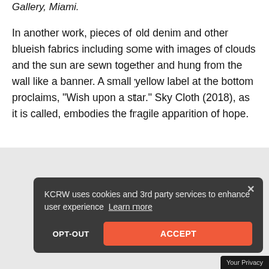Gallery, Miami.
In another work, pieces of old denim and other blueish fabrics including some with images of clouds and the sun are sewn together and hung from the wall like a banner. A small yellow label at the bottom proclaims, “Wish upon a star.” Sky Cloth (2018), as it is called, embodies the fragile apparition of hope.
[Figure (screenshot): Cookie consent banner from KCRW with dark background, showing text 'KCRW uses cookies and 3rd party services to enhance user experience' with a Learn more link, an OPT-OUT button, and a red ACCEPT button. A close X button is in the top right. A 'Your Privacy' label appears at the bottom right corner.]